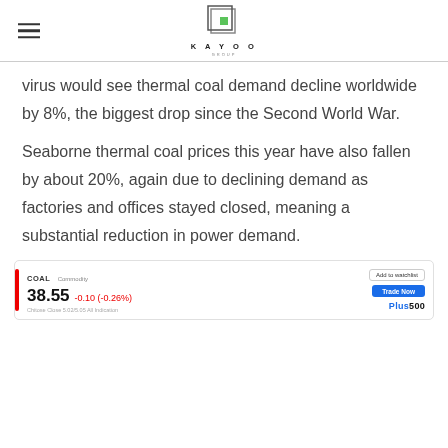KAYOO GROUP
virus would see thermal coal demand decline worldwide by 8%, the biggest drop since the Second World War.
Seaborne thermal coal prices this year have also fallen by about 20%, again due to declining demand as factories and offices stayed closed, meaning a substantial reduction in power demand.
[Figure (other): COAL commodity ticker widget showing price 38.55, change -0.10 (-0.26%), with Add to watchlist and Trade Now buttons, Plus500 branding]